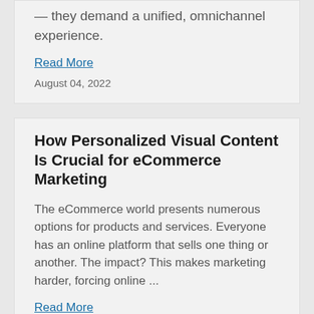— they demand a unified, omnichannel experience.
Read More
August 04, 2022
How Personalized Visual Content Is Crucial for eCommerce Marketing
The eCommerce world presents numerous options for products and services. Everyone has an online platform that sells one thing or another. The impact? This makes marketing harder, forcing online ...
Read More
June 14, 2022
How to Combine Email Marketing and Social Media for Better Branding